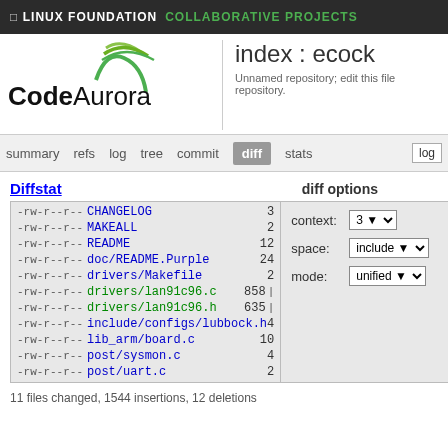LINUX FOUNDATION COLLABORATIVE PROJECTS
[Figure (logo): CodeAurora logo with stylized green swoosh]
index : ecock
Unnamed repository; edit this file repository.
summary   refs   log   tree   commit   diff   stats   log
Diffstat
| perm | filename | count |
| --- | --- | --- |
| -rw-r--r-- | CHANGELOG | 3 |
| -rw-r--r-- | MAKEALL | 2 |
| -rw-r--r-- | README | 12 |
| -rw-r--r-- | doc/README.Purple | 24 |
| -rw-r--r-- | drivers/Makefile | 2 |
| -rw-r--r-- | drivers/lan91c96.c | 858 |
| -rw-r--r-- | drivers/lan91c96.h | 635 |
| -rw-r--r-- | include/configs/lubbock.h | 4 |
| -rw-r--r-- | lib_arm/board.c | 10 |
| -rw-r--r-- | post/sysmon.c | 4 |
| -rw-r--r-- | post/uart.c | 2 |
diff options
context: 3
space: include
mode: unified
11 files changed, 1544 insertions, 12 deletions